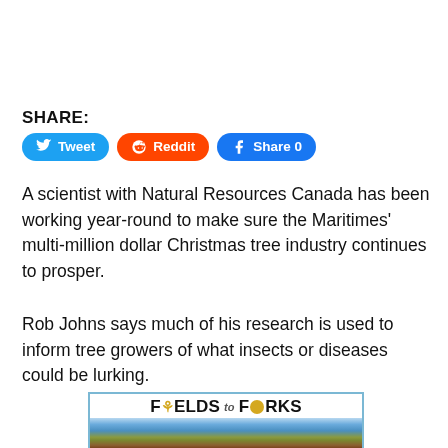SHARE:
[Figure (infographic): Social share buttons: Tweet (Twitter/blue), Reddit (orange), Share 0 (Facebook/blue)]
A scientist with Natural Resources Canada has been working year-round to make sure the Maritimes' multi-million dollar Christmas tree industry continues to prosper.
Rob Johns says much of his research is used to inform tree growers of what insects or diseases could be lurking.
[Figure (illustration): Fields to Forks advertisement banner with logo text and farm/agricultural equipment photo below]